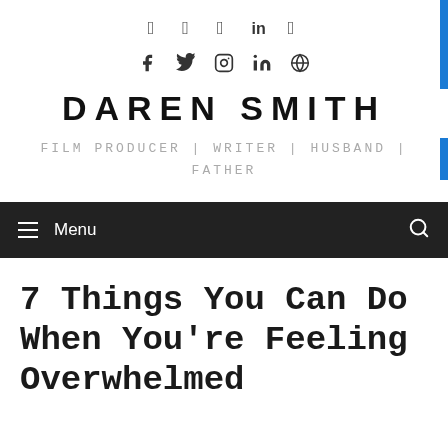Social icons: Facebook, Twitter, Instagram, LinkedIn, WordPress
DAREN SMITH
FILM PRODUCER | WRITER | HUSBAND | FATHER
Menu (navigation bar with hamburger menu and search icon)
7 Things You Can Do When You're Feeling Overwhelmed